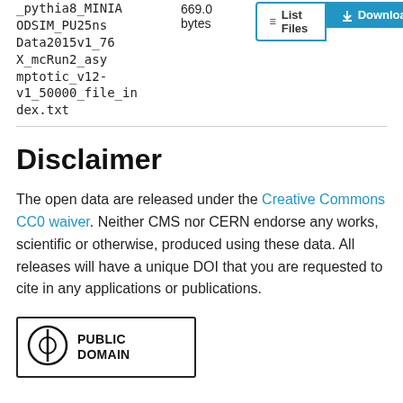_pythia8_MINIAODSIM_PU25nsData2015v1_76X_mcRun2_asymptotic_v12-v1_50000_file_index.txt
669.0 bytes
[Figure (screenshot): List Files and Download buttons]
Disclaimer
The open data are released under the Creative Commons CC0 waiver. Neither CMS nor CERN endorse any works, scientific or otherwise, produced using these data. All releases will have a unique DOI that you are requested to cite in any applications or publications.
[Figure (logo): Creative Commons Public Domain badge]